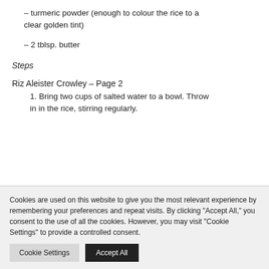– turmeric powder (enough to colour the rice to a clear golden tint)
– 2 tblsp. butter
Steps
Riz Aleister Crowley – Page 2
1. Bring two cups of salted water to a bowl. Throw in in the rice, stirring regularly.
Cookies are used on this website to give you the most relevant experience by remembering your preferences and repeat visits. By clicking "Accept All," you consent to the use of all the cookies. However, you may visit "Cookie Settings" to provide a controlled consent.